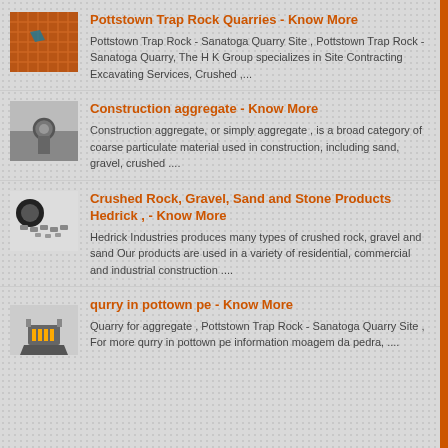[Figure (photo): Industrial quarry conveyor belt with orange crushed rock material and teal/blue stripe]
Pottstown Trap Rock Quarries - Know More
Pottstown Trap Rock - Sanatoga Quarry Site , Pottstown Trap Rock - Sanatoga Quarry, The H K Group specializes in Site Contracting Excavating Services, Crushed ,...
[Figure (photo): Close-up of a bolt and metal plate in grayscale]
Construction aggregate - Know More
Construction aggregate, or simply aggregate , is a broad category of coarse particulate material used in construction, including sand, gravel, crushed ....
[Figure (photo): Crushed rock and stone products with black gaskets and mechanical parts on white background]
Crushed Rock, Gravel, Sand and Stone Products Hedrick , - Know More
Hedrick Industries produces many types of crushed rock, gravel and sand Our products are used in a variety of residential, commercial and industrial construction ....
[Figure (photo): Small image of a portable heater or burner device]
qurry in pottown pe - Know More
Quarry for aggregate , Pottstown Trap Rock - Sanatoga Quarry Site , For more qurry in pottown pe information moagem da pedra, ....